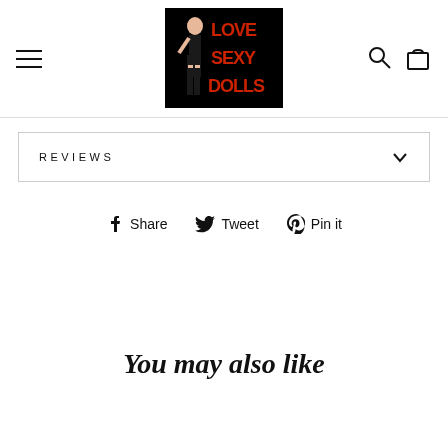[Figure (logo): Love Sexy Dolls logo: black background with illustrated woman and red bold text LOVE SEXY DOLLS]
REVIEWS
Share  Tweet  Pin it
You may also like